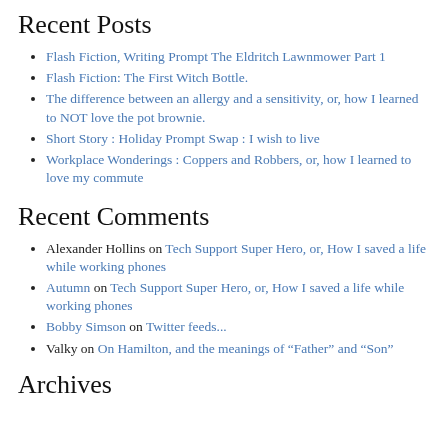Recent Posts
Flash Fiction, Writing Prompt The Eldritch Lawnmower Part 1
Flash Fiction: The First Witch Bottle.
The difference between an allergy and a sensitivity, or, how I learned to NOT love the pot brownie.
Short Story : Holiday Prompt Swap : I wish to live
Workplace Wonderings : Coppers and Robbers, or, how I learned to love my commute
Recent Comments
Alexander Hollins on Tech Support Super Hero, or, How I saved a life while working phones
Autumn on Tech Support Super Hero, or, How I saved a life while working phones
Bobby Simson on Twitter feeds...
Valky on On Hamilton, and the meanings of “Father” and “Son”
Archives